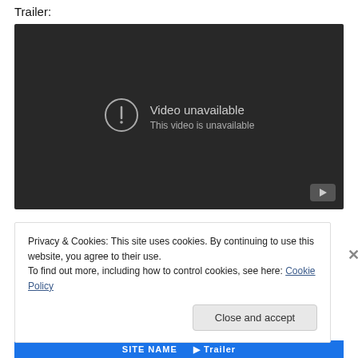Trailer:
[Figure (screenshot): Embedded video player showing 'Video unavailable - This video is unavailable' error message on dark background, with a play button icon in the bottom right corner.]
Privacy & Cookies: This site uses cookies. By continuing to use this website, you agree to their use.
To find out more, including how to control cookies, see here: Cookie Policy
Close and accept